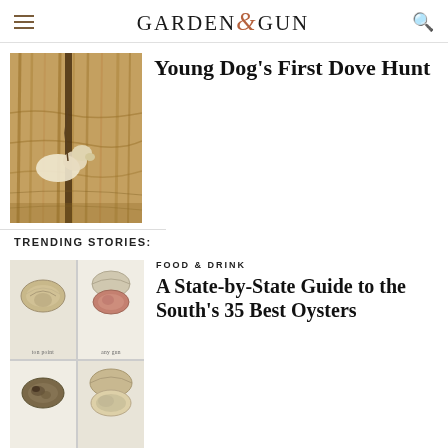GARDEN & GUN
[Figure (photo): A dog on a dove hunt in a cornfield, leashed to a fence post amid dried cornstalks]
Young Dog's First Dove Hunt
TRENDING STORIES:
FOOD & DRINK
[Figure (illustration): A 2x2 grid of illustrated oysters: top-left flat oyster shell, top-right open pink oyster, bottom-left dark oyster, bottom-right large open oyster. Labels: ton point, any gun, little bubble, choice bake]
A State-by-State Guide to the South's 35 Best Oysters